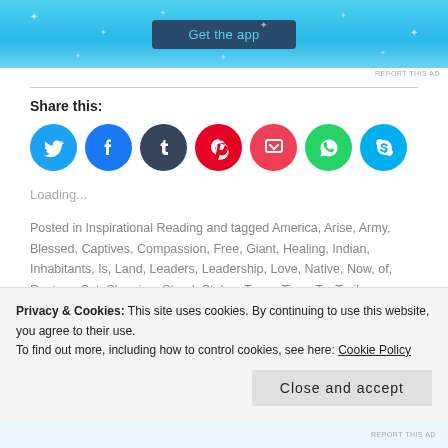[Figure (screenshot): App advertisement banner with 'Get the app' button on a light blue background with star decorations]
REPORT THIS AD
Share this:
[Figure (infographic): Row of circular social media share icons: Twitter (blue), Facebook (blue), Tumblr (dark blue), Pinterest (red), Pocket (red/pink), WhatsApp (green), Skype (light blue)]
Loading...
Posted in Inspirational Reading and tagged America, Arise, Army, Blessed, Captives, Compassion, Free, Giant, Healing, Indian, Inhabitants, Is, Land, Leaders, Leadership, Love, Native, Now, of, Restore, Set, Sleeping, Stand, Stolen, Tears, Time, To, Trail, Understanding, Up, Wave on March 26, 2017. Leave a comment
Privacy & Cookies: This site uses cookies. By continuing to use this website, you agree to their use.
To find out more, including how to control cookies, see here: Cookie Policy
Close and accept